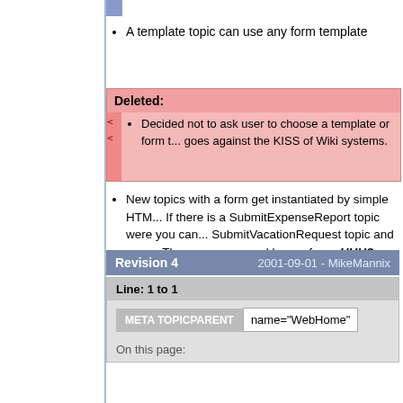A template topic can use any form template
Deleted:
Decided not to ask user to choose a template or form t... goes against the KISS of Wiki systems.
New topics with a form get instantiated by simple HTM... If there is a SubmitExpenseReport topic were you can... SubmitVacationRequest topic and so on. These can sp... and hence form. HUH?
Revision 4   2001-09-01 - MikeMannix
Line: 1 to 1
| META TOPICPARENT | name="WebHome" |
| --- | --- |
On this page: